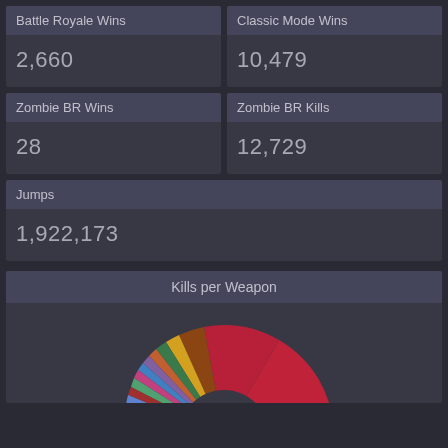Battle Royale Wins
Classic Mode Wins
2,660
10,479
Zombie BR Wins
Zombie BR Kills
28
12,729
Jumps
1,922,173
Kills per Weapon
[Figure (pie-chart): Partially visible donut/pie chart showing kills per weapon, with multiple colored slices. A large red slice dominates the right side, with many thin slices of various colors on the left side. Chart is cut off at the bottom.]